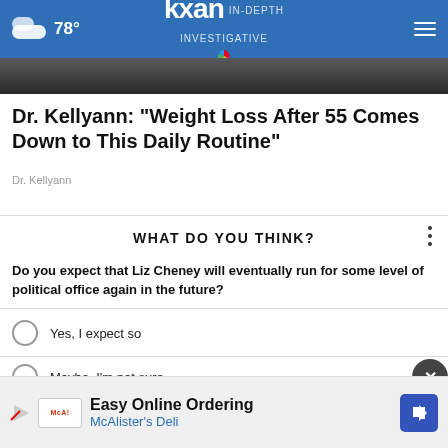kxan IN-DEPTH INVESTIGATIVE | 78°
[Figure (photo): Partial view of a dark photo strip at top of article]
Dr. Kellyann: "Weight Loss After 55 Comes Down to This Daily Routine"
Dr. Kellyann
WHAT DO YOU THINK?
Do you expect that Liz Cheney will eventually run for some level of political office again in the future?
Yes, I expect so
Maybe, I'm not sure
[Figure (screenshot): Ad banner: Easy Online Ordering — McAlister's Deli]